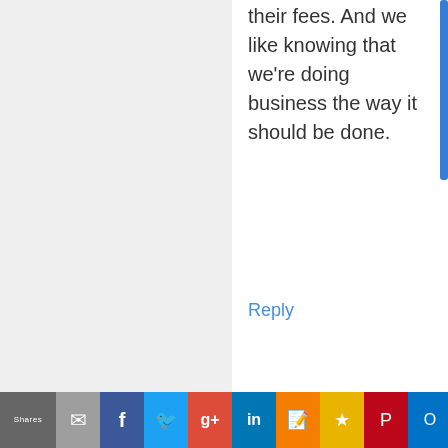their fees. And we like knowing that we're doing business the way it should be done.
Reply
[Figure (photo): User avatar for Mike Ford - red square with 'I Took An Oath' text and USMC Eagle Globe Anchor emblem]
Mike Ford
8:10 am on October 8, 2015
Good for you! Cost plus pricing is the only fair way
Shares | Email | Facebook | Twitter | Google+ | LinkedIn | Blogger | Favorites | Pinterest | Outlook | Gmail | Reddit